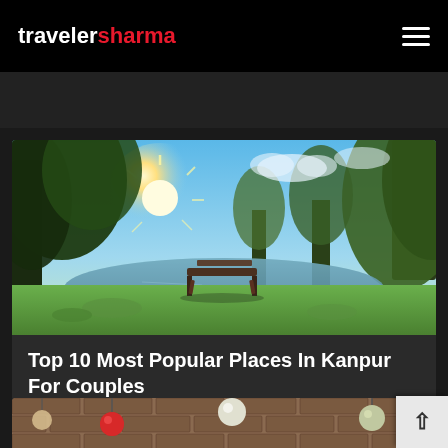traveler sharma
[Figure (photo): Partial dark card visible at top, cut off]
[Figure (photo): Scenic park photo showing sunlight through trees, a bench, green grass, and a calm lake with tree reflections]
Top 10 Most Popular Places In Kanpur For Couples
[Figure (photo): Partial bottom card showing a brick wall with hanging globe lights (red, white, green)]